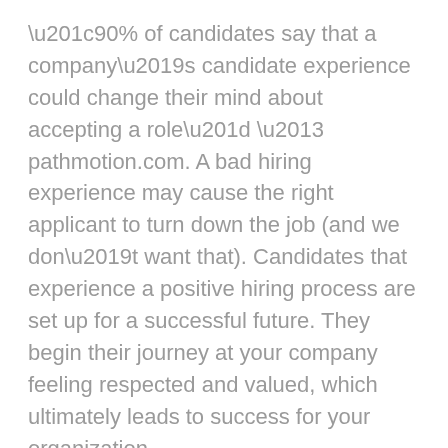“90% of candidates say that a company’s candidate experience could change their mind about accepting a role” – pathmotion.com. A bad hiring experience may cause the right applicant to turn down the job (and we don’t want that). Candidates that experience a positive hiring process are set up for a successful future. They begin their journey at your company feeling respected and valued, which ultimately leads to success for your organization.
Karen has also seen, first-hand, the effects a negative experience can have on a candidate and it was a big part of the reason she took interest in Talent Acquisition. “This is what drew me to talent